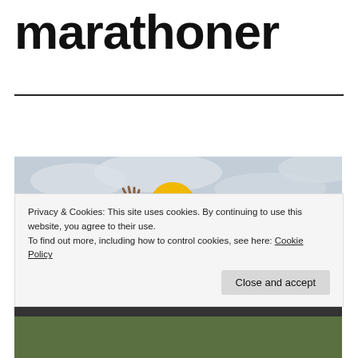marathoner
[Figure (photo): Elderly man with white beard wearing a yellow/golden turban and black tracksuit with yellow stripes, raising one hand in a wave gesture. City landscape visible in background under overcast sky.]
Privacy & Cookies: This site uses cookies. By continuing to use this website, you agree to their use.
To find out more, including how to control cookies, see here: Cookie Policy
Close and accept